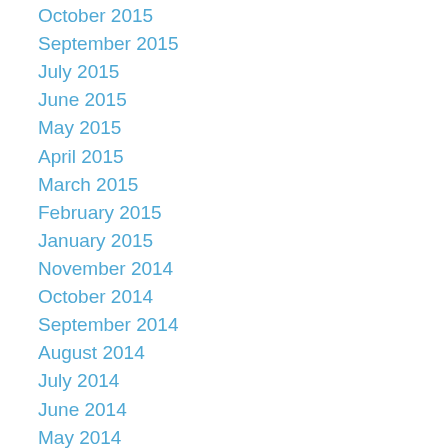October 2015
September 2015
July 2015
June 2015
May 2015
April 2015
March 2015
February 2015
January 2015
November 2014
October 2014
September 2014
August 2014
July 2014
June 2014
May 2014
April 2014
March 2014
February 2014
January 2014